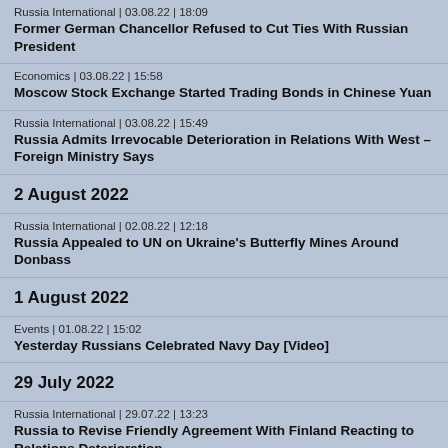Russia International | 03.08.22 | 18:09
Former German Chancellor Refused to Cut Ties With Russian President
Economics | 03.08.22 | 15:58
Moscow Stock Exchange Started Trading Bonds in Chinese Yuan
Russia International | 03.08.22 | 15:49
Russia Admits Irrevocable Deterioration in Relations With West – Foreign Ministry Says
2 August 2022
Russia International | 02.08.22 | 12:18
Russia Appealed to UN on Ukraine's Butterfly Mines Around Donbass
1 August 2022
Events | 01.08.22 | 15:02
Yesterday Russians Celebrated Navy Day [Video]
29 July 2022
Russia International | 29.07.22 | 13:23
Russia to Revise Friendly Agreement With Finland Reacting to Relations Deterioration